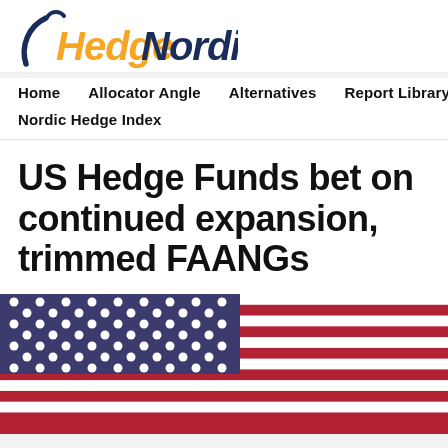[Figure (logo): HedgeNordic logo with orange 'Hedge' and dark navy 'Nordic' text, with a circular arc graphic to the left]
Home   Allocator Angle   Alternatives   Report Library   Nordic Hedge Index
US Hedge Funds bet on continued expansion, trimmed FAANGs
[Figure (photo): US flag photo showing blue starred canton on left and red and white stripes on right]